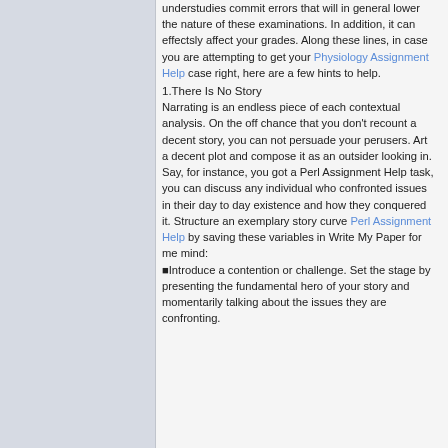understudies commit errors that will in general lower the nature of these examinations. In addition, it can effectsly affect your grades. Along these lines, in case you are attempting to get your Physiology Assignment Help case right, here are a few hints to help.
1.There Is No Story
Narrating is an endless piece of each contextual analysis. On the off chance that you don't recount a decent story, you can not persuade your perusers. Art a decent plot and compose it as an outsider looking in. Say, for instance, you got a Perl Assignment Help task, you can discuss any individual who confronted issues in their day to day existence and how they conquered it. Structure an exemplary story curve Perl Assignment Help by saving these variables in Write My Paper for me mind:
Introduce a contention or challenge. Set the stage by presenting the fundamental hero of your story and momentarily talking about the issues they are confronting.